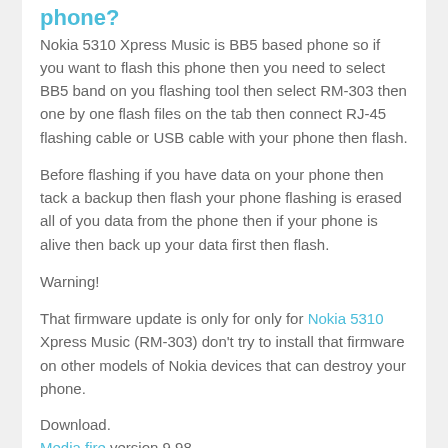phone?
Nokia 5310 Xpress Music is BB5 based phone so if you want to flash this phone then you need to select BB5 band on you flashing tool then select RM-303 then one by one flash files on the tab then connect RJ-45 flashing cable or USB cable with your phone then flash.
Before flashing if you have data on your phone then tack a backup then flash your phone flashing is erased all of you data from the phone then if your phone is alive then back up your data first then flash.
Warning!
That firmware update is only for only for Nokia 5310 Xpress Music (RM-303) don't try to install that firmware on other models of Nokia devices that can destroy your phone.
Download.
Media fire version 9.98